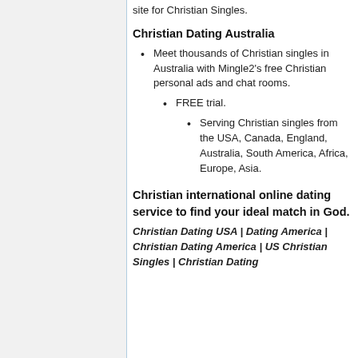site for Christian Singles.
Christian Dating Australia
Meet thousands of Christian singles in Australia with Mingle2's free Christian personal ads and chat rooms.
FREE trial.
Serving Christian singles from the USA, Canada, England, Australia, South America, Africa, Europe, Asia.
Christian international online dating service to find your ideal match in God.
Christian Dating USA | Dating America | Christian Dating America | US Christian Singles | Christian Dating